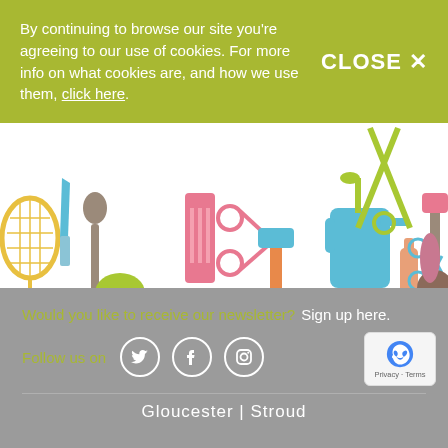By continuing to browse our site you're agreeing to our use of cookies. For more info on what cookies are, and how we use them, click here.
CLOSE ✕
[Figure (illustration): Colorful silhouette illustration of various household tools and items including scissors, watering can, garden shears, hammer, comb, spoon, racket, and other objects in green, teal, pink, orange, and brown colors]
Would you like to receive our newsletter? Sign up here.
Follow us on
[Figure (infographic): Three social media icons in white circles: Twitter bird, Facebook f, Instagram camera]
Gloucester |  Stroud
[Figure (logo): Google reCAPTCHA badge with privacy and terms text]